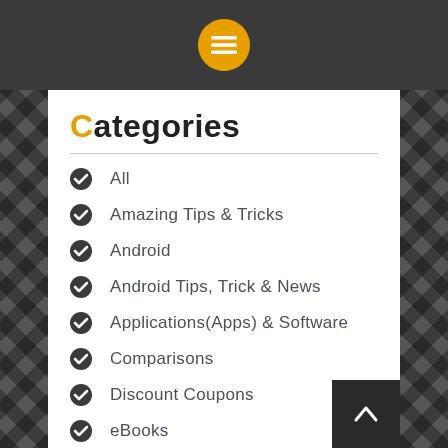[Figure (other): Dark top navigation bar with orange circular menu icon containing three horizontal lines]
Categories
All
Amazing Tips & Tricks
Android
Android Tips, Trick & News
Applications(Apps) & Software
Comparisons
Discount Coupons
eBooks
Facebook
Facebook Tips, Trick & News